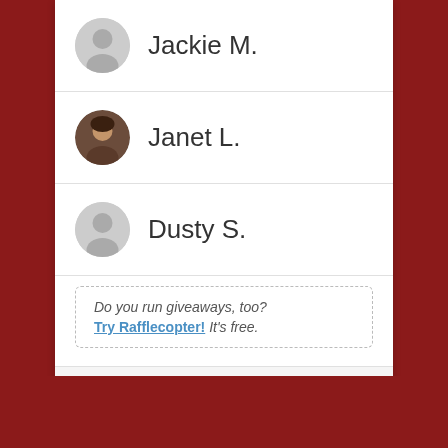Jackie M.
[Figure (illustration): Default grey avatar icon for Jackie M.]
[Figure (photo): Profile photo of Janet L., a woman with dark hair]
Janet L.
[Figure (illustration): Default grey avatar icon for Dusty S.]
Dusty S.
Do you run giveaways, too? Try Rafflecopter! It's free.
powered by Rafflecopter